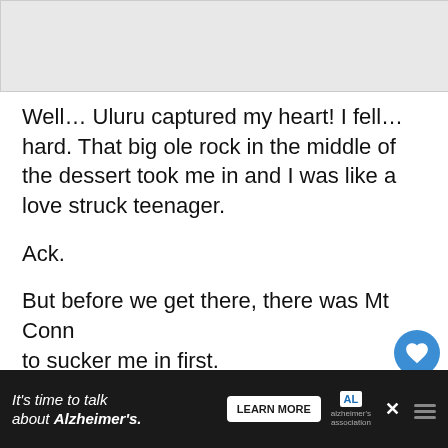[Figure (photo): Gray image placeholder at top of page (partially visible photo)]
Well… Uluru captured my heart! I fell…hard. That big ole rock in the middle of the dessert took me in and I was like a love struck teenager.

Ack.

But before we get there, there was Mt Conn… to sucker me in first.

Apparently a few folk mistake Mt Conner for U…
[Figure (infographic): Alzheimer's Association advertisement banner at bottom: 'It's time to talk about Alzheimer's.' with LEARN MORE button and logo]